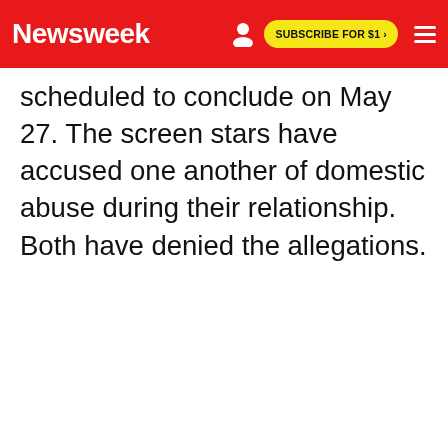Newsweek | SUBSCRIBE FOR $1 >
scheduled to conclude on May 27. The screen stars have accused one another of domestic abuse during their relationship. Both have denied the allegations.